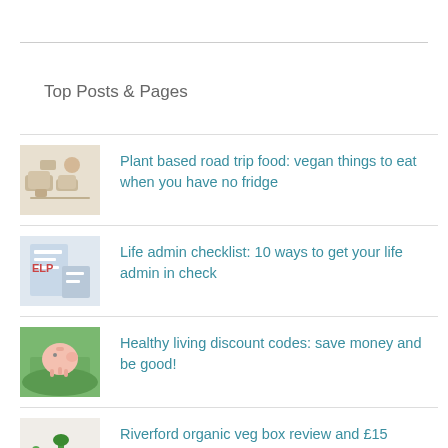Top Posts & Pages
Plant based road trip food: vegan things to eat when you have no fridge
Life admin checklist: 10 ways to get your life admin in check
Healthy living discount codes: save money and be good!
Riverford organic veg box review and £15 discount code!
5 must-have items in your first aid kit for